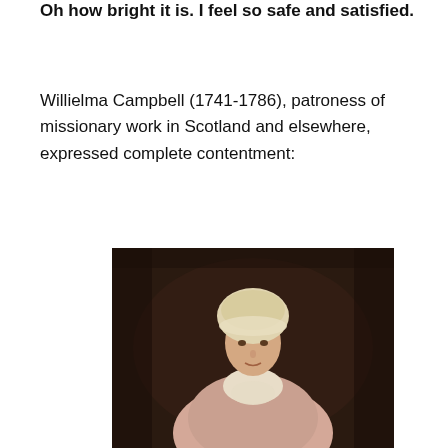Oh how bright it is. I feel so safe and satisfied.
Willielma Campbell (1741-1786), patroness of missionary work in Scotland and elsewhere, expressed complete contentment:
[Figure (photo): Oil portrait painting of Willielma Campbell, a woman wearing a white lace bonnet and light-colored dress with lace details, set against a dark brown background.]